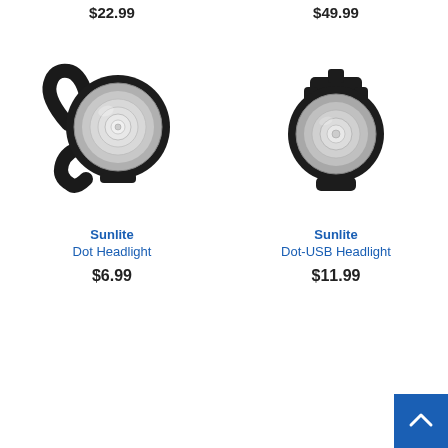$22.99
$49.99
[Figure (photo): Sunlite Dot Headlight bicycle light - small round black LED headlight with mounting bracket]
[Figure (photo): Sunlite Dot-USB Headlight bicycle light - compact round black LED headlight with USB charging]
Sunlite Dot Headlight
$6.99
Sunlite Dot-USB Headlight
$11.99